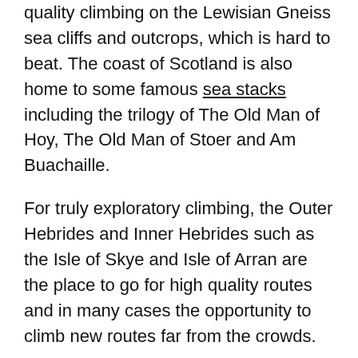quality climbing on the Lewisian Gneiss sea cliffs and outcrops, which is hard to beat. The coast of Scotland is also home to some famous sea stacks including the trilogy of The Old Man of Hoy, The Old Man of Stoer and Am Buachaille.
For truly exploratory climbing, the Outer Hebrides and Inner Hebrides such as the Isle of Skye and Isle of Arran are the place to go for high quality routes and in many cases the opportunity to climb new routes far from the crowds.
In the Chamonix area there is a huge amount of climbing from bolt protected sport climbs in the Limestone Arve Valley, through to the classic granite cracks of the Chamonix Aiguilles or the wrinkled Gneiss of the Aiguilles Rouges. For details of mountain rock climbing in the Chamonix Mont-Blanc Massif also check out our pages on Alpine Climbing.